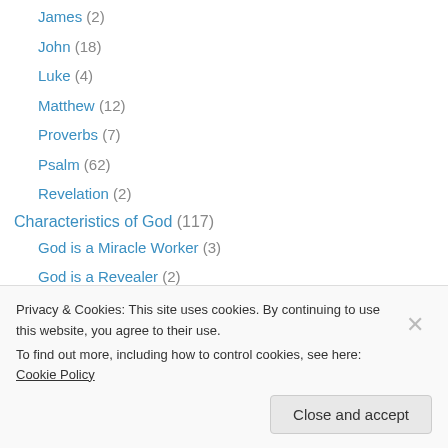James (2)
John (18)
Luke (4)
Matthew (12)
Proverbs (7)
Psalm (62)
Revelation (2)
Characteristics of God (117)
God is a Miracle Worker (3)
God is a Revealer (2)
God is a Savior (1)
God is Faithful (1)
God is Good (2)
God is Love (3)
Privacy & Cookies: This site uses cookies. By continuing to use this website, you agree to their use. To find out more, including how to control cookies, see here: Cookie Policy